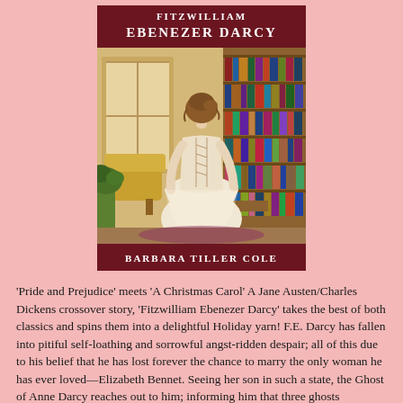[Figure (illustration): Book cover for 'Fitzwilliam Ebenezer Darcy' by Barbara Tiller Cole. Dark red header with white title text, central image of a woman in a Regency-era gown viewed from behind in a library setting, dark red footer with author name.]
'Pride and Prejudice' meets 'A Christmas Carol' A Jane Austen/Charles Dickens crossover story, 'Fitzwilliam Ebenezer Darcy' takes the best of both classics and spins them into a delightful Holiday yarn! F.E. Darcy has fallen into pitiful self-loathing and sorrowful angst-ridden despair; all of this due to his belief that he has lost forever the chance to marry the only woman he has ever loved—Elizabeth Bennet. Seeing her son in such a state, the Ghost of Anne Darcy reaches out to him; informing him that three ghosts